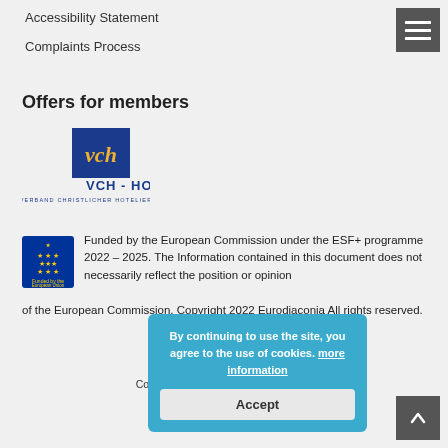Accessibility Statement
Complaints Process
Offers for members
[Figure (logo): VCH-Hotels logo with blue square containing 'vch' script and text 'VCH - HOTELS VERBAND CHRISTLICHER HOTELIER']
[Figure (logo): European Union flag logo - blue circle with yellow stars]
Funded by the European Commission under the ESF+ programme 2022 – 2025. The Information contained in this document does not necessarily reflect the position or opinion of the European Commission. Copyright 2022 Eurodiaconia All rights reserved.
By continuing to use the site, you agree to the use of cookies. more information
Accept
Copyright 2020 © All Rights Reserved
Footer